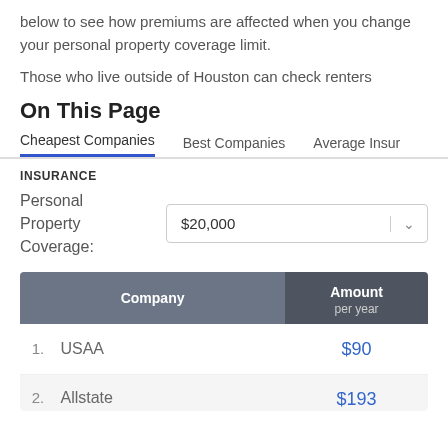below to see how premiums are affected when you change your personal property coverage limit.
Those who live outside of Houston can check renters
On This Page
Cheapest Companies   Best Companies   Average Insur
INSURANCE
Personal Property Coverage:
| Company | Amount per year |
| --- | --- |
| 1. USAA | $90 |
| 2. Allstate | $193 |